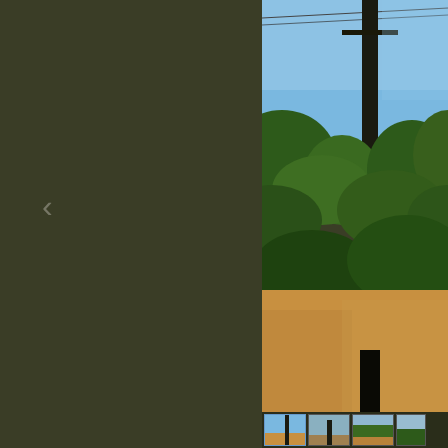[Figure (photo): Outdoor scene with a dark utility/power pole in the center-right, blue sky, green trees and shrubs in the background, and dry golden-brown grass in the foreground. The left portion of the image is cropped out and replaced by a dark olive-green panel. A left navigation arrow '<' is visible on the dark panel. A page counter '1 / 8' is shown in the bottom-left of the dark panel. A row of small thumbnail images appears at the bottom of the screen.]